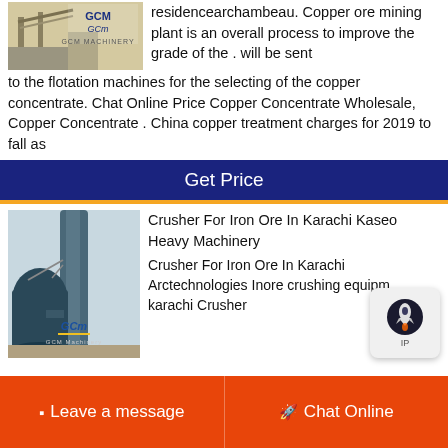[Figure (photo): GCM Machinery logo and mining equipment image with yellow conveyor structure]
residencearchambeau. Copper ore mining plant is an overall process to improve the grade of the . will be sent to the flotation machines for the selecting of the copper concentrate. Chat Online Price Copper Concentrate Wholesale, Copper Concentrate . China copper treatment charges for 2019 to fall as
Get Price
[Figure (photo): GCM Machinery industrial crusher/mill machine on a construction site]
Crusher For Iron Ore In Karachi Kaseo Heavy Machinery
Crusher For Iron Ore In Karachi Arctechnologies Inore crushing equipm... karachi Crusher
Leave a message
Chat Online